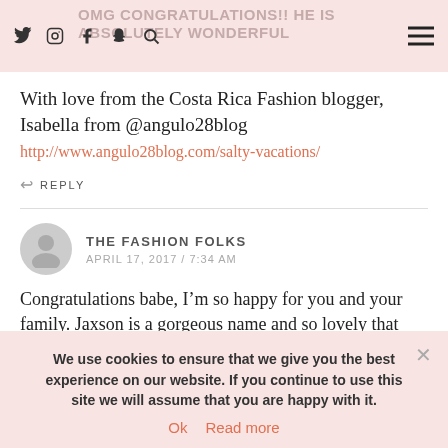OMG CONGRATULATIONS!! HE IS ABSOLUTELY WONDERFUL
With love from the Costa Rica Fashion blogger, Isabella from @angulo28blog
http://www.angulo28blog.com/salty-vacations/
REPLY
THE FASHION FOLKS
APRIL 17, 2017 / 7:34 AM
Congratulations babe, I’m so happy for you and your family. Jaxson is a gorgeous name and so lovely that he’s finally with you all! Xx
We use cookies to ensure that we give you the best experience on our website. If you continue to use this site we will assume that you are happy with it.
Ok  Read more